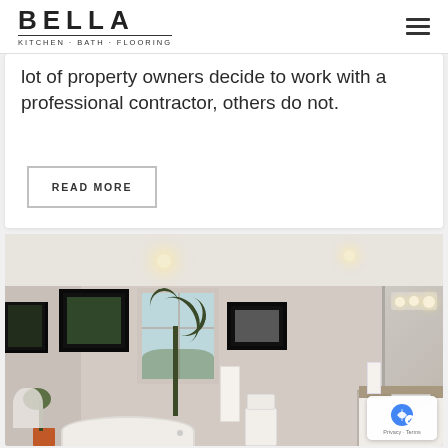BELLA KITCHEN · BATH · FLOORING
lot of property owners decide to work with a professional contractor, others do not.
READ MORE
[Figure (photo): Interior photo of a modern renovated bathroom with white freestanding bathtub, bamboo plant, framed artwork, white vanity with granite countertop, towels, and large mirror. Neutral beige walls with recessed lighting.]